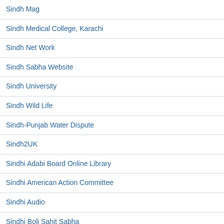Sindh Mag
Sindh Medical College, Karachi
Sindh Net Work
Sindh Sabha Website
Sindh University
Sindh Wild Life
Sindh-Punjab Water Dispute
Sindh2UK
Sindhi Adabi Board Online Library
Sindhi American Action Committee
Sindhi Audio
Sindhi Boli Sahit Sabha
Sindhi Dictionary